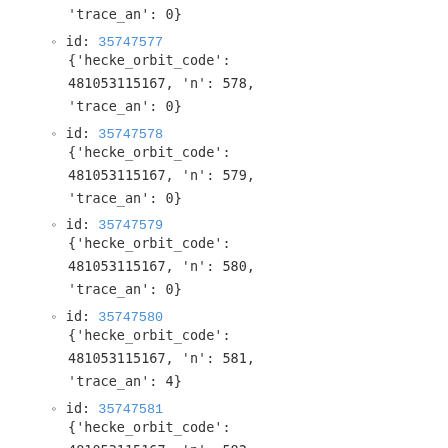'trace_an': 0}
id: 35747577 {'hecke_orbit_code': 481053115167, 'n': 578, 'trace_an': 0}
id: 35747578 {'hecke_orbit_code': 481053115167, 'n': 579, 'trace_an': 0}
id: 35747579 {'hecke_orbit_code': 481053115167, 'n': 580, 'trace_an': 0}
id: 35747580 {'hecke_orbit_code': 481053115167, 'n': 581, 'trace_an': 4}
id: 35747581 {'hecke_orbit_code': 481053115167, 'n': 582, 'trace_an': 0}